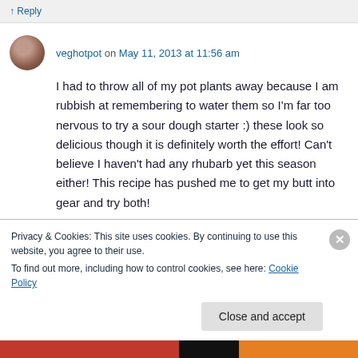↑ Reply
veghotpot on May 11, 2013 at 11:56 am
I had to throw all of my pot plants away because I am rubbish at remembering to water them so I'm far too nervous to try a sour dough starter :) these look so delicious though it is definitely worth the effort! Can't believe I haven't had any rhubarb yet this season either! This recipe has pushed me to get my butt into gear and try both!
Privacy & Cookies: This site uses cookies. By continuing to use this website, you agree to their use.
To find out more, including how to control cookies, see here: Cookie Policy
Close and accept